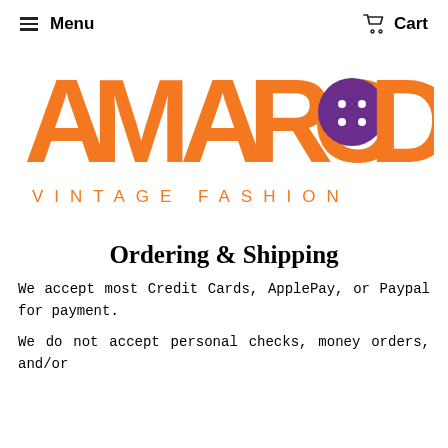Menu   Cart
[Figure (logo): Amarcord Vintage Fashion logo. Large orange letters spelling AMARCORD with a purple button replacing the O, and VINTAGE FASHION in spaced orange letters below.]
Ordering & Shipping
We accept most Credit Cards, ApplePay, or Paypal for payment.
We do not accept personal checks, money orders, and/or